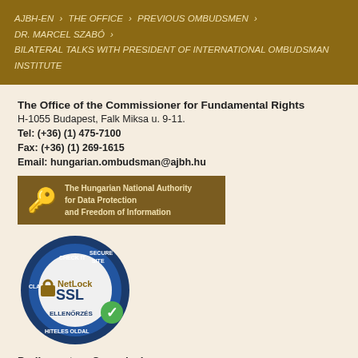AJBH-EN > THE OFFICE > PREVIOUS OMBUDSMEN > DR. MARCEL SZABÓ > BILATERAL TALKS WITH PRESIDENT OF INTERNATIONAL OMBUDSMAN INSTITUTE
The Office of the Commissioner for Fundamental Rights
H-1055 Budapest, Falk Miksa u. 9-11.
Tel: (+36) (1) 475-7100
Fax: (+36) (1) 269-1615
Email: hungarian.ombudsman@ajbh.hu
[Figure (logo): The Hungarian National Authority for Data Protection and Freedom of Information badge with key icon]
[Figure (logo): NetLock SSL Class C Secure Site certificate badge with padlock icon]
Parliamentary Commissioner